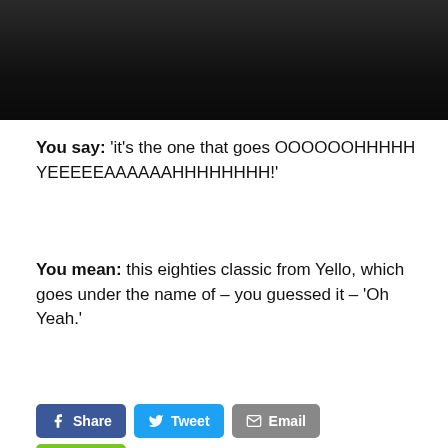[Figure (photo): Dark/black video still or thumbnail image at the top of the page]
You say: 'it's the one that goes OOOOOOHHHHH YEEEEEAAAAAAHHHHHHHH!'
You mean: this eighties classic from Yello, which goes under the name of – you guessed it – 'Oh Yeah.'
Share | Tweet | Email | Share (social buttons)
CHECK OUT THE